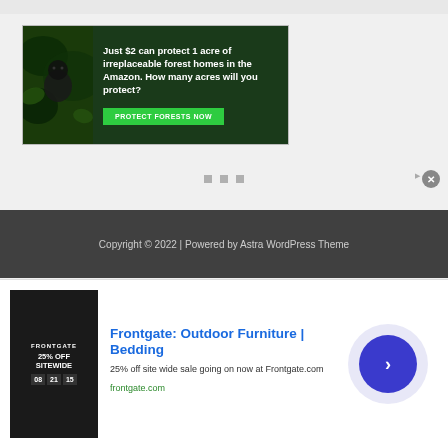[Figure (other): Advertisement banner for Amazon forest protection. Dark forest background with gorilla image on left. Text reads: 'Just $2 can protect 1 acre of irreplaceable forest homes in the Amazon. How many acres will you protect?' with green 'PROTECT FORESTS NOW' button.]
■ ■ ■ (three loading/placeholder squares)
Copyright © 2022 | Powered by Astra WordPress Theme
[Figure (other): Advertisement for Frontgate: Outdoor Furniture | Bedding. Shows '25% OFF SITEWIDE' sale image on left, text: 'Frontgate: Outdoor Furniture | Bedding', '25% off site wide sale going on now at Frontgate.com', 'frontgate.com'. Blue circle with right arrow on right side.]